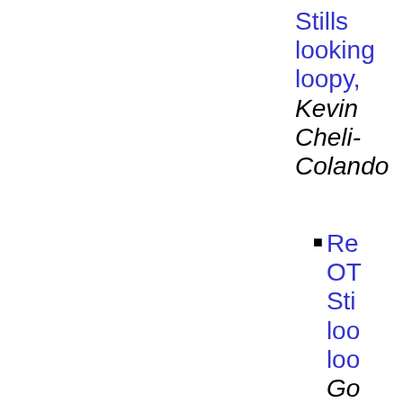Stills looking loopy, Kevin Cheli-Colando
Re OT Sti loo loo Go